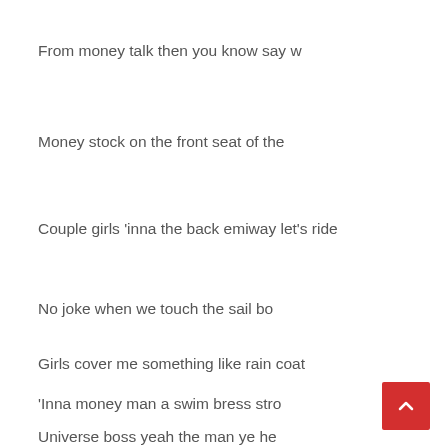From money talk then you know say w
Money stock on the front seat of the
Couple girls 'inna the back emiway let's ride
No joke when we touch the sail bo
Girls cover me something like rain coat
'Inna money man a swim bress stro
Universe boss yeah the man ye he